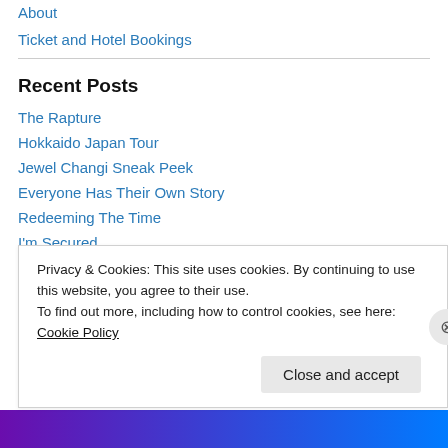About
Ticket and Hotel Bookings
Recent Posts
The Rapture
Hokkaido Japan Tour
Jewel Changi Sneak Peek
Everyone Has Their Own Story
Redeeming The Time
I'm Secured
Pet Lover
Tips To Getting The Perfect Car
Privacy & Cookies: This site uses cookies. By continuing to use this website, you agree to their use. To find out more, including how to control cookies, see here: Cookie Policy
Close and accept